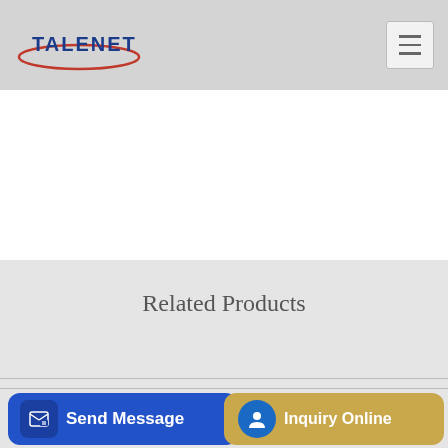TALENET
Related Products
Seth Ranz Concrete Pumping
concrete pump different types of concrete pump with mixer
Ceme
Send Message
Inquiry Online